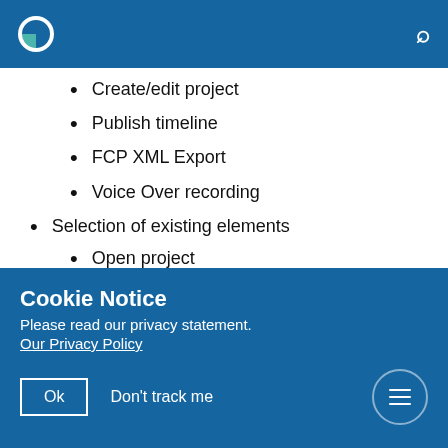App header with logo and search icon
Create/edit project
Publish timeline
FCP XML Export
Voice Over recording
Selection of existing elements
Open project
Cookie Notice
Please read our privacy statement.
Our Privacy Policy
Ok  Don't track me